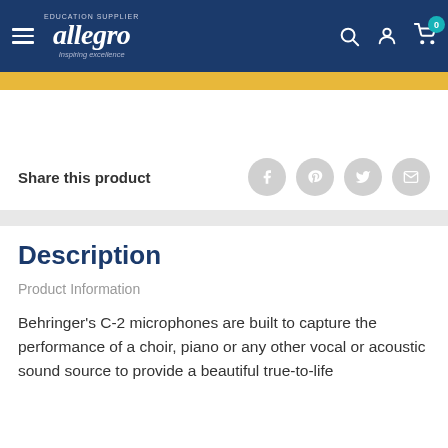allegro - Education Supplier - Inspiring excellence
Share this product
Description
Product Information
Behringer's C-2 microphones are built to capture the performance of a choir, piano or any other vocal or acoustic sound source to provide a beautiful true-to-life